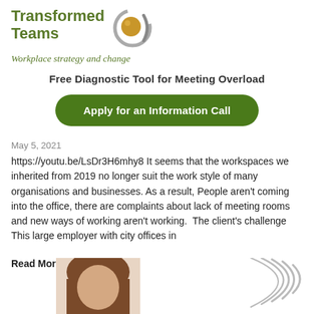[Figure (logo): Transformed Teams logo with golden circle/swirl icon and green text]
Workplace strategy and change
Free Diagnostic Tool for Meeting Overload
Apply for an Information Call
May 5, 2021
https://youtu.be/LsDr3H6mhy8 It seems that the workspaces we inherited from 2019 no longer suit the work style of many organisations and businesses. As a result, People aren't coming into the office, there are complaints about lack of meeting rooms and new ways of working aren't working.  The client's challenge This large employer with city offices in
Read More »
[Figure (photo): Partial photo of a person's head/face at the bottom of the page]
[Figure (illustration): Decorative swirl/arc lines graphic at bottom right]